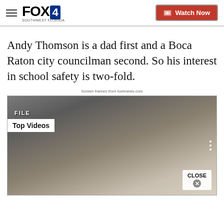FOX4 | Watch Now
Andy Thomson is a dad first and a Boca Raton city councilman second. So his interest in school safety is two-fold.
Screen frames from foxhnews.com
[Figure (screenshot): Video player screenshot showing FILE label and Top Videos badge overlay on an image of what appears to be a school hallway with emergency vehicles. A progress bar is at the top and a CLOSE button with X is at the bottom right.]